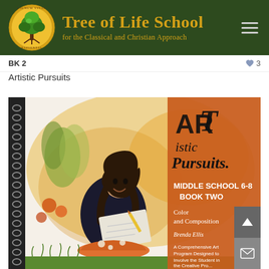Tree of Life School - for the Classical and Christian Approach
BK 2  ♥ 3
Artistic Pursuits
[Figure (photo): Book cover of ARTistic Pursuits Middle School 6-8 Book Two: Color and Composition by Brenda Ellis. Shows a girl sitting outdoors drawing, with watercolor background and text on orange/brown cover. Spiral bound book.]